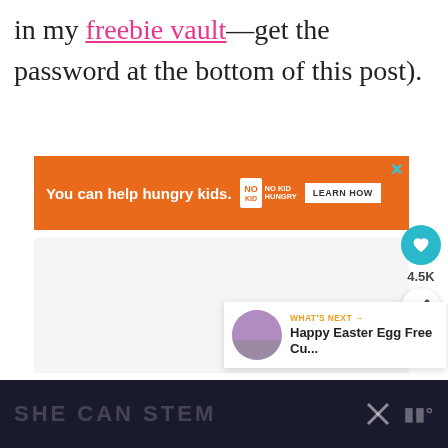in my freebie vault—get the password at the bottom of this post).
[Figure (screenshot): Orange advertisement banner: 'You can help hungry kids. NO KID HUNGRY LEARN HOW' with a close (X) button in teal]
[Figure (screenshot): Social sidebar with heart button (teal circle), count '4.5K', and share button (circle with share icon)]
[Figure (screenshot): What's Next card with thumbnail, label 'WHAT'S NEXT →', and title 'Happy Easter Egg Free Cu...']
[Figure (screenshot): Dark footer advertisement banner with 'SHE CAN STEM' text, X close button, and logo]